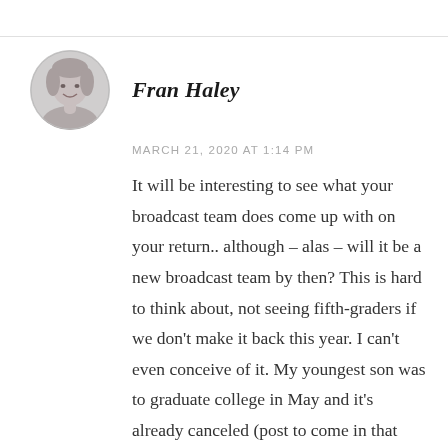[Figure (photo): Circular avatar photo of Fran Haley, a woman with light hair, smiling, black and white photo]
Fran Haley
MARCH 21, 2020 AT 1:14 PM
It will be interesting to see what your broadcast team does come up with on your return.. although – alas – will it be a new broadcast team by then? This is hard to think about, not seeing fifth-graders if we don't make it back this year. I can't even conceive of it. My youngest son was to graduate college in May and it's already canceled (post to come in that regard). On a lighter note: We will have our event, probably next year; instead of waiting for